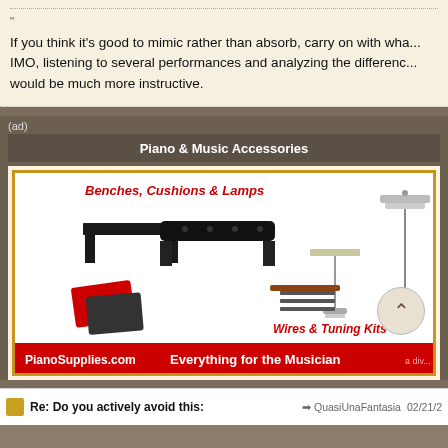If you think it's good to mimic rather than absorb, carry on with wha... IMO, listening to several performances and analyzing the differenc... would be much more instructive.
(ad)
Piano & Music Accessories
[Figure (illustration): Advertisement for PianoSupplies.com showing piano benches, cushions, lamps, wires & tuning kits, a red tote bag, keyboard ties, and clothing & party items. Bottom bar reads: PianoSupplies.com Everything for the Musician a div...]
Re: Do you actively avoid this:
QuasiUnaFantasia
02/21/2